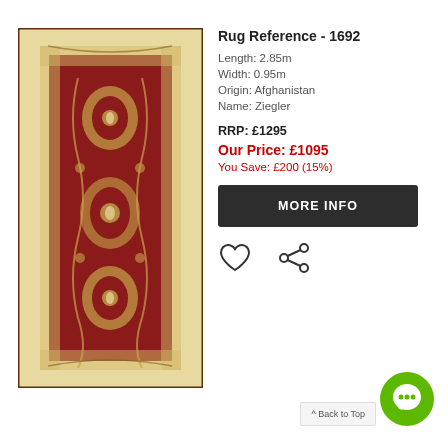[Figure (photo): A tall narrow red and cream Afghan Ziegler rug runner with intricate floral and medallion pattern, bordered with cream floral design]
Rug Reference - 1692
Length: 2.85m
Width: 0.95m
Origin: Afghanistan
Name: Ziegler
RRP: £1295
Our Price: £1095
You Save: £200 (15%)
MORE INFO
^ Back to Top